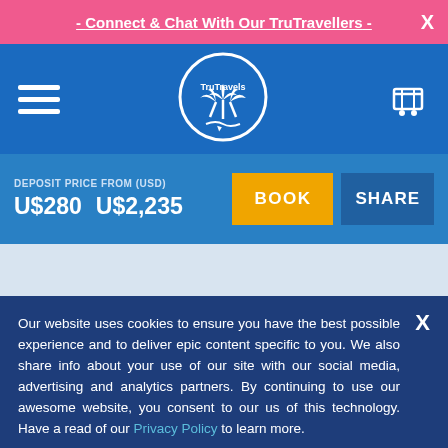- Connect & Chat With Our TruTravellers -
[Figure (logo): TruTravels circular logo with palm trees]
DEPOSIT PRICE FROM (USD)   U$280   U$2,235   BOOK   SHARE
Our website uses cookies to ensure you have the best possible experience and to deliver epic content specific to you. We also share info about your use of our site with our social media, advertising and analytics partners. By continuing to use our awesome website, you consent to our us of this technology. Have a read of our Privacy Policy to learn more.
ACCEPT